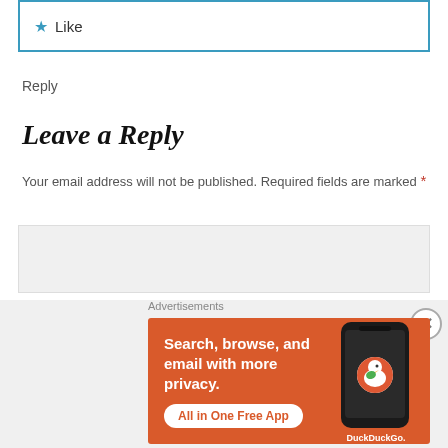[Figure (other): Like button inside a blue-bordered box with a star icon]
Reply
Leave a Reply
Your email address will not be published. Required fields are marked *
[Figure (other): Comment text input box (gray background)]
[Figure (other): DuckDuckGo advertisement banner: Search, browse, and email with more privacy. All in One Free App.]